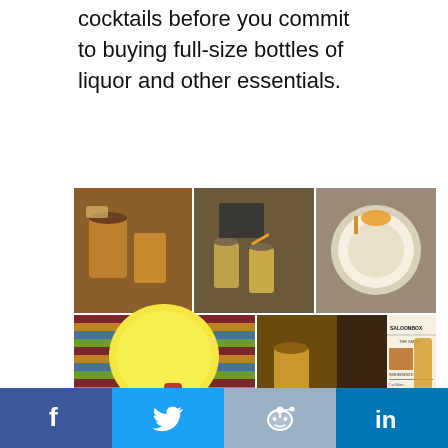cocktails before you commit to buying full-size bottles of liquor and other essentials.
[Figure (photo): A 3x3 collage of photos showing cocktail drinks, saloonbox subscription box contents including small liquor bottles, recipe cards with SALOONBOX branding, and various cocktail ingredients and packaging.]
f  [Twitter bird]  [Reddit alien]  in